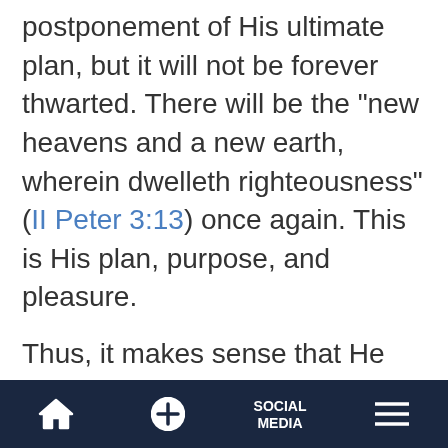postponement of His ultimate plan, but it will not be forever thwarted. There will be the "new heavens and a new earth, wherein dwelleth righteousness" (II Peter 3:13) once again. This is His plan, purpose, and pleasure.
Thus, it makes sense that He would have created things as stated in Scripture, in an orderly, rapid fashion. He would not have used billions of years to create in His image, and He certainly would not have used death, pain, extinction, and survival of the fittest. These are the results of sin
SOCIAL MEDIA